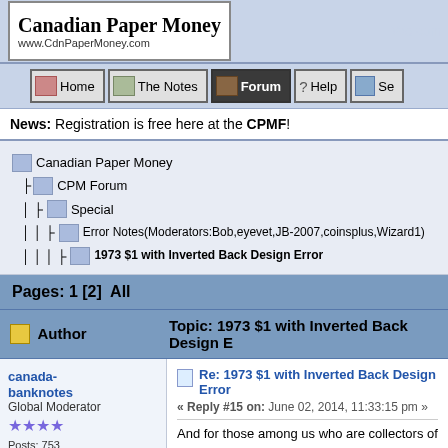Canadian Paper Money www.CdnPaperMoney.com Welcome
Home | The Notes | Forum | Help | Se...
News: Registration is free here at the CPMF!
Canadian Paper Money > CPM Forum > Special > Error Notes(Moderators:Bob,eyevet,JB-2007,coinsplus,Wizard1) > 1973 $1 with Inverted Back Design Error
Pages: 1 [2]  All
Author   Topic: 1973 $1 with Inverted Back Design Error
canada-banknotes
Global Moderator
Posts: 753
CNA Member 21689 and CPMS Life Member 100
Re: 1973 $1 with Inverted Back Design Error
« Reply #15 on: June 02, 2014, 11:33:15 pm »
And for those among us who are collectors of world inverted back design note from Spain.
http://www.ebay.ca/itm/MAJOR-ERROR-INVERTED- Pesetas-Banknote-AU-/121296796171?pt=Paper_M